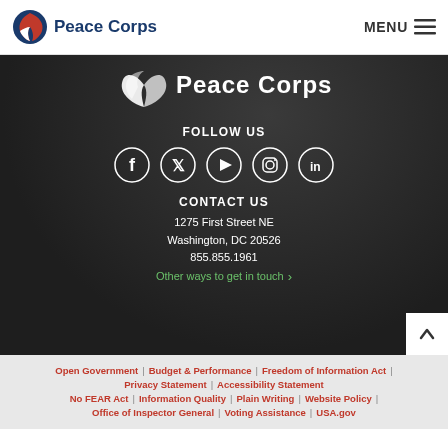Peace Corps | MENU
[Figure (logo): Peace Corps logo (large white version on dark background)]
FOLLOW US
[Figure (infographic): Social media icons: Facebook, Twitter, YouTube, Instagram, LinkedIn]
CONTACT US
1275 First Street NE
Washington, DC 20526
855.855.1961
Other ways to get in touch ›
Open Government | Budget & Performance | Freedom of Information Act | Privacy Statement | Accessibility Statement | No FEAR Act | Information Quality | Plain Writing | Website Policy | Office of Inspector General | Voting Assistance | USA.gov